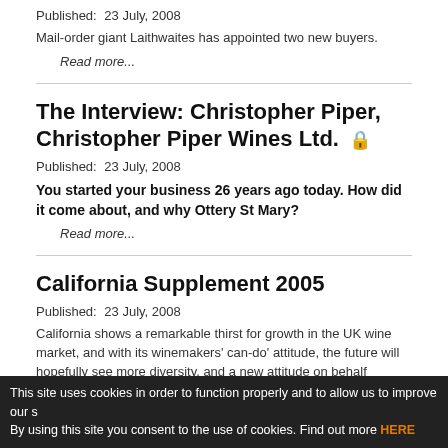Published:  23 July, 2008
Mail-order giant Laithwaites has appointed two new buyers.
Read more...
The Interview: Christopher Piper, Christopher Piper Wines Ltd.
Published:  23 July, 2008
You started your business 26 years ago today. How did it come about, and why Ottery St Mary?
Read more...
California Supplement 2005
Published:  23 July, 2008
California shows a remarkable thirst for growth in the UK wine market, and with its winemakers' can-do' attitude, the future will hopefully see more diversity, and a new attitude on behalf
This site uses cookies in order to function properly and to allow us to improve our s By using this site you consent to the use of cookies. Find out more HERE